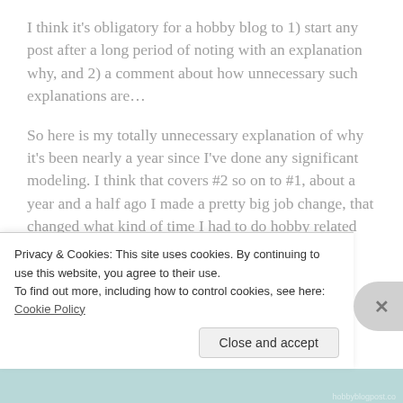I think it's obligatory for a hobby blog to 1) start any post after a long period of noting with an explanation why, and 2) a comment about how unnecessary such explanations are…
So here is my totally unnecessary explanation of why it's been nearly a year since I've done any significant modeling. I think that covers #2 so on to #1, about a year and a half ago I made a pretty big job change, that changed what kind of time I had to do hobby related things so it dropped off significantly fast forward to this fall we came to the realization that
Privacy & Cookies: This site uses cookies. By continuing to use this website, you agree to their use.
To find out more, including how to control cookies, see here: Cookie Policy
Close and accept